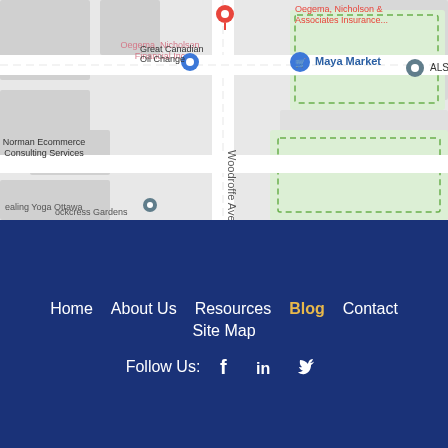[Figure (map): Google Maps view showing Oegema, Nicholson & Associates Insurance location on Woodroffe Ave, Ottawa. Nearby landmarks include Oegema Nicholson Financial Inc, Great Canadian Oil Change, Maya Market, Norman Ecommerce Consulting Services, Rockcress Gardens, Healing Yoga Ottawa, and ALS. A red map pin marks the insurance location.]
Home   About Us   Resources   Blog   Contact   Site Map
Follow Us: